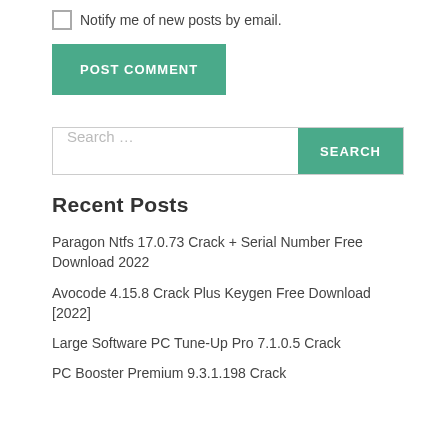Notify me of new posts by email.
POST COMMENT
Search …
Recent Posts
Paragon Ntfs 17.0.73 Crack + Serial Number Free Download 2022
Avocode 4.15.8 Crack Plus Keygen Free Download [2022]
Large Software PC Tune-Up Pro 7.1.0.5 Crack
PC Booster Premium 9.3.1.198 Crack